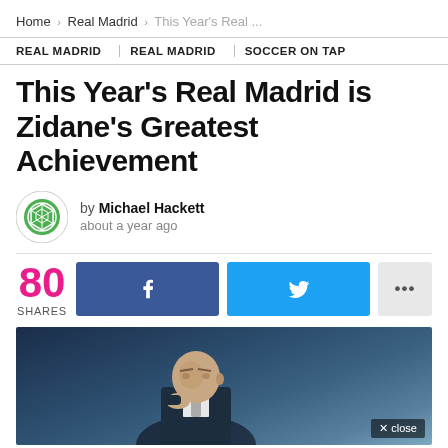Home › Real Madrid › This Year's Real ...
REAL MADRID   REAL MADRID   SOCCER ON TAP
This Year's Real Madrid is Zidane's Greatest Achievement
by Michael Hackett about a year ago
80 SHARES
[Figure (photo): Photo of Zinedine Zidane (bald man in suit) with hand near chin, dark blue blurred background. A 'X close' button is visible in the bottom right corner.]